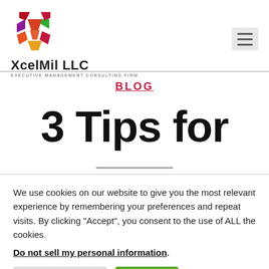[Figure (logo): XcelMil LLC colorful star/arrow logo with company name and tagline EXECUTIVE MANAGEMENT CONSULTING FIRM]
BLOG
3 Tips for
We use cookies on our website to give you the most relevant experience by remembering your preferences and repeat visits. By clicking “Accept”, you consent to the use of ALL the cookies.
Do not sell my personal information.
Cookie Settings   Accept